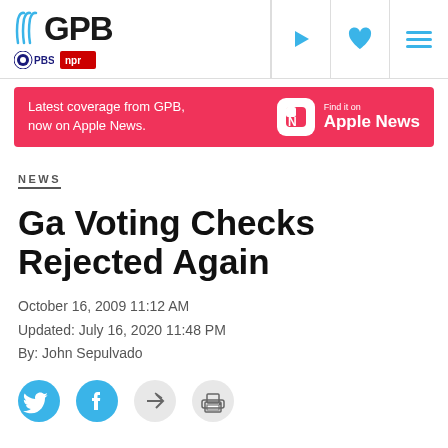[Figure (logo): GPB logo with PBS and NPR badges, navigation icons (play, heart, menu)]
[Figure (infographic): Banner ad: Latest coverage from GPB, now on Apple News. Find it on Apple News.]
NEWS
Ga Voting Checks Rejected Again
October 16, 2009 11:12 AM
Updated: July 16, 2020 11:48 PM
By: John Sepulvado
[Figure (illustration): Social sharing icons: Twitter, Facebook, share, print]